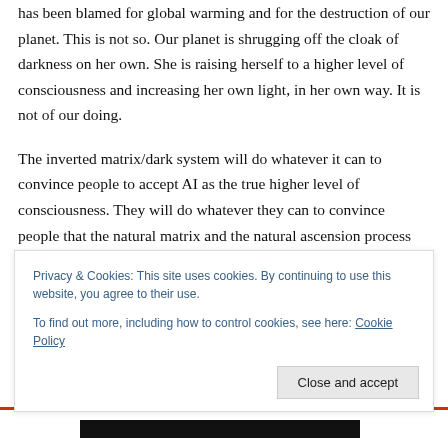has been blamed for global warming and for the destruction of our planet. This is not so. Our planet is shrugging off the cloak of darkness on her own. She is raising herself to a higher level of consciousness and increasing her own light, in her own way. It is not of our doing.
The inverted matrix/dark system will do whatever it can to convince people to accept AI as the true higher level of consciousness. They will do whatever they can to convince people that the natural matrix and the natural ascension process are flawed, inferior, and at fault so that
Privacy & Cookies: This site uses cookies. By continuing to use this website, you agree to their use.
To find out more, including how to control cookies, see here: Cookie Policy
Close and accept